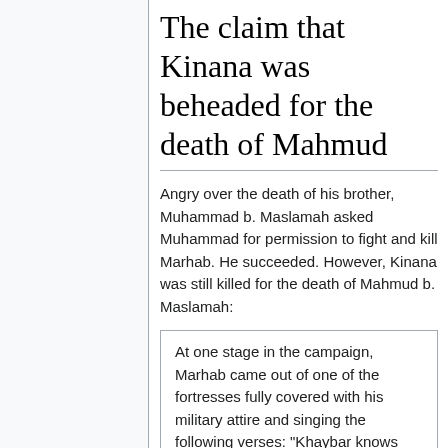The claim that Kinana was beheaded for the death of Mahmud
Angry over the death of his brother, Muhammad b. Maslamah asked Muhammad for permission to fight and kill Marhab. He succeeded. However, Kinana was still killed for the death of Mahmud b. Maslamah:
At one stage in the campaign, Marhab came out of one of the fortresses fully covered with his military attire and singing the following verses: "Khaybar knows that I am Marhab, that I am an